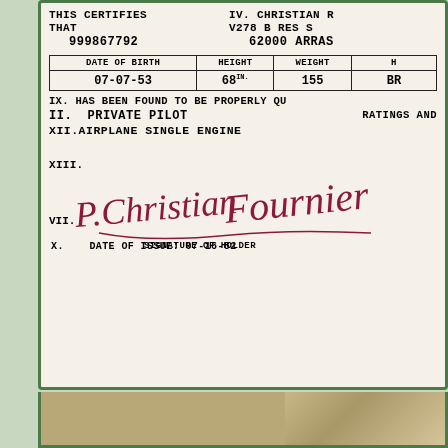THIS CERTIFIES    IV. CHRISTIAN R
THAT    V278 B RES S
999867792    62000 ARRAS
| DATE OF BIRTH | HEIGHT | WEIGHT | H |
| --- | --- | --- | --- |
| 07-07-53 | 68 IN. | 155 | BR |
IX. HAS BEEN FOUND TO BE PROPERLY QU
II. PRIVATE PILOT
RATINGS AND
XII. AIRPLANE SINGLE ENGINE
XIII.
[Figure (illustration): Handwritten signature in dark red/maroon ink reading 'P. Christian Fournier']
VII.   SIGNATURE OF HOLDER
X.   DATE OF ISSUE: 07-16-82
[Figure (photo): Partial photo strip at bottom of pilot certificate]